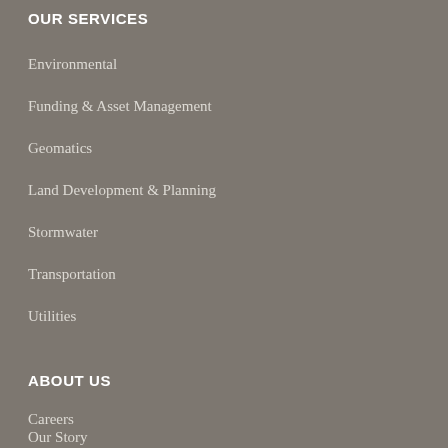OUR SERVICES
Environmental
Funding & Asset Management
Geomatics
Land Development & Planning
Stormwater
Transportation
Utilities
ABOUT US
Careers
Our Story